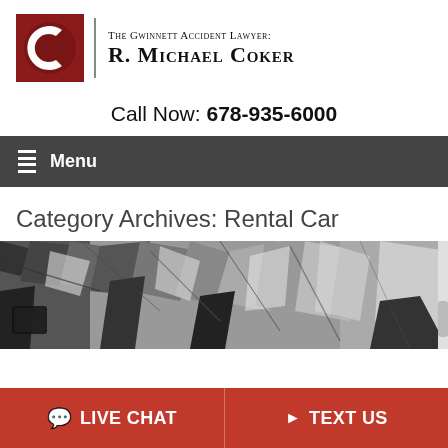[Figure (logo): The Gwinnett Accident Lawyer: R. Michael Coker logo with red C lettermark and text]
Call Now: 678-935-6000
Menu
Category Archives: Rental Car
[Figure (photo): Black and white close-up photo of crumpled/crushed metal from a car accident]
LIVE CHAT
TEXT US